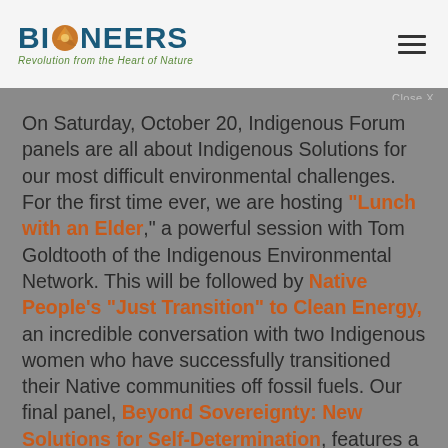BIONEERS — Revolution from the Heart of Nature
On Saturday, October 20, Indigenous Forum panels are all about Indigenous Solutions for our most difficult environmental challenges. For the first time ever, we are hosting "Lunch with an Elder," a powerful session with Tom Goldtooth of the Indigenous Environmental Network. This will be followed by Native People's "Just Transition" to Clean Energy, an incredible conversation with two Indigenous women who have successfully transitioned their Native communities off fossil fuels. Our final panel, Beyond Sovereignty: New Solutions for Self-Determination, features a Native lawyer, a tribal government